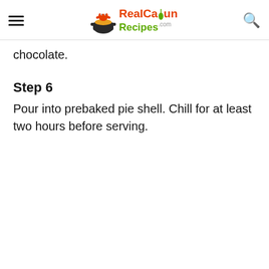RealCajunRecipes.com
chocolate.
Step 6
Pour into prebaked pie shell. Chill for at least two hours before serving.